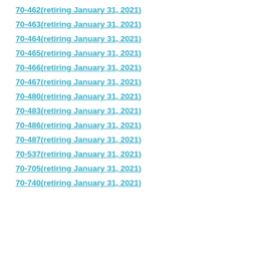70-462(retiring January 31, 2021)
70-463(retiring January 31, 2021)
70-464(retiring January 31, 2021)
70-465(retiring January 31, 2021)
70-466(retiring January 31, 2021)
70-467(retiring January 31, 2021)
70-480(retiring January 31, 2021)
70-483(retiring January 31, 2021)
70-486(retiring January 31, 2021)
70-487(retiring January 31, 2021)
70-537(retiring January 31, 2021)
70-705(retiring January 31, 2021)
70-740(retiring January 31, 2021)